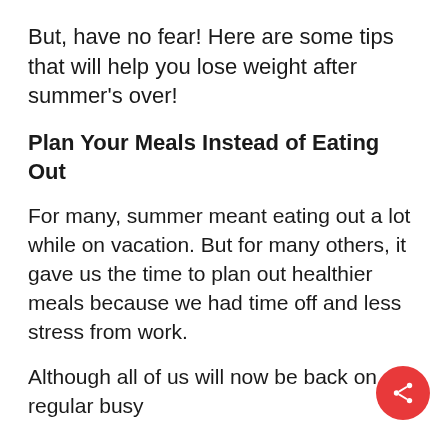But, have no fear! Here are some tips that will help you lose weight after summer's over!
Plan Your Meals Instead of Eating Out
For many, summer meant eating out a lot while on vacation. But for many others, it gave us the time to plan out healthier meals because we had time off and less stress from work.
Although all of us will now be back on our regular busy